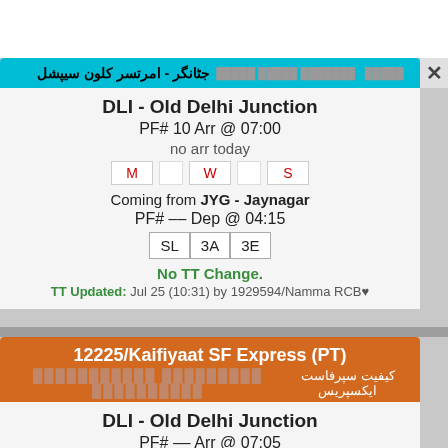جٹانگر - امرتسر کلون سیپشل  [blurred text]
DLI - Old Delhi Junction
PF# 10 Arr @ 07:00
no arr today
M  W  S
Coming from JYG - Jaynagar
PF# -- Dep @ 04:15
SL  3A  3E
No TT Change.
TT Updated: Jul 25 (10:31) by 1929594/Namma RCB♥
12225/Kaifiyaat SF Express (PT)
کیفیت سپرفاست ایکسپریس  [blurred text]
DLI - Old Delhi Junction
PF# -- Arr @ 07:05
ETA: n/a